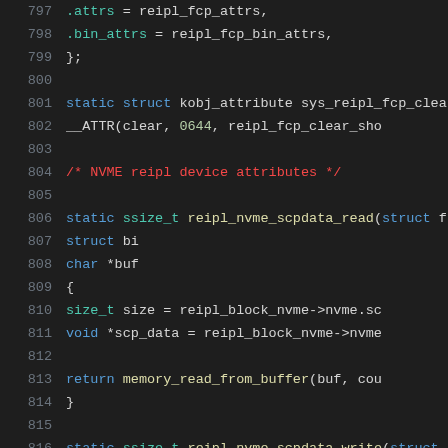[Figure (screenshot): Source code viewer showing C kernel code lines 797–818 with syntax highlighting on dark background. Code includes struct attribute definitions and function signatures for reipl FCP and NVME device attributes.]